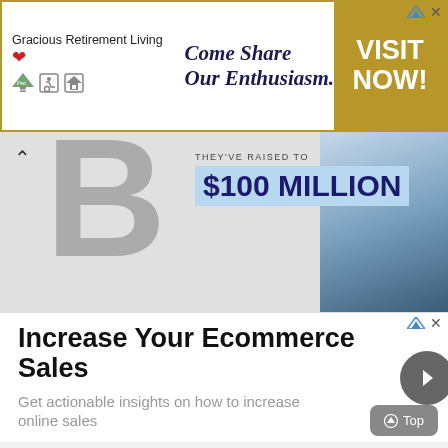[Figure (screenshot): Advertisement banner for Gracious Retirement Living with tagline 'Come Share Our Enthusiasm.' and a gold 'VISIT NOW!' button on the right side.]
[Figure (screenshot): Partial banner image showing a large 'B' letter in gray, text '$100 MILLION' in blue on light blue background, and a person holding a tablet on the right side. An up-arrow caret is visible top left.]
Increase Your Ecommerce Sales
Get actionable insights on how to increase online sales
[Figure (screenshot): Faded/blurred advertisement content area below the ecommerce card, partially visible with a 'Top' button in the bottom right corner.]